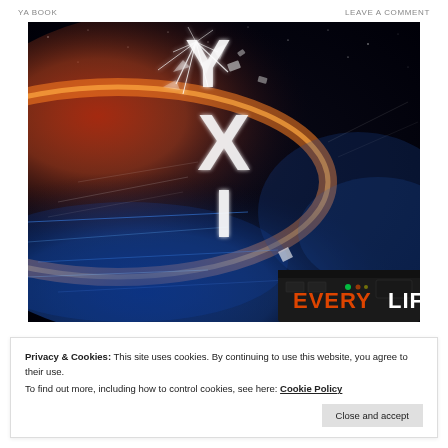YA BOOK    LEAVE A COMMENT
[Figure (illustration): Book cover for 'YXI Every Life' showing a dramatic space scene with a planet, nebula, debris, and blue energy waves. Large letters Y, X, I appear vertically. Text 'EVERY LIFE' appears in orange and white at the bottom.]
Privacy & Cookies: This site uses cookies. By continuing to use this website, you agree to their use.
To find out more, including how to control cookies, see here: Cookie Policy
Close and accept